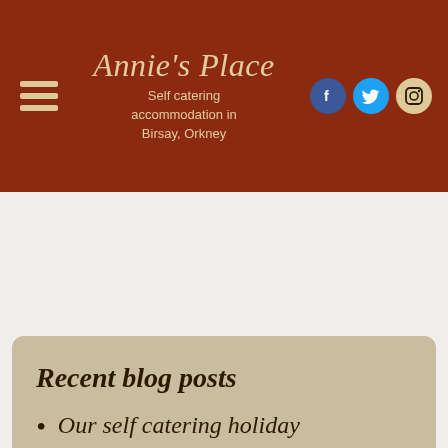Annie's Place – Self catering accommodation in Birsay, Orkney
Recent blog posts
Our self catering holiday
This website uses cookies to ensure you get the best experience on our website. Cookies policy  Privacy policy
I AGREE